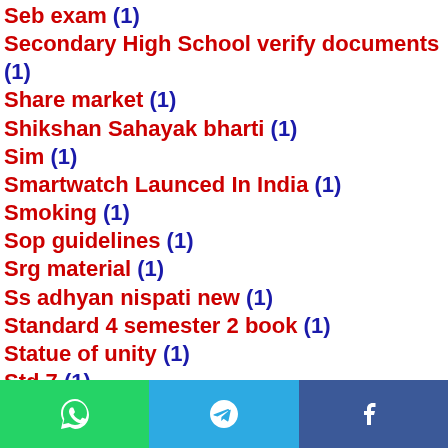Seb exam (1)
Secondary High School verify documents (1)
Share market (1)
Shikshan Sahayak bharti (1)
Sim (1)
Smartwatch Launced In India (1)
Smoking (1)
Sop guidelines (1)
Srg material (1)
Ss adhyan nispati new (1)
Standard 4 semester 2 book (1)
Statue of unity (1)
Std 7 (1)
Std 8 (1)
Strick Four (1)
Sudoku (1)
Summer Camp (1)